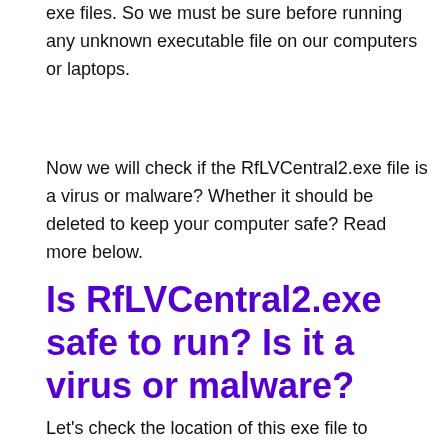exe files. So we must be sure before running any unknown executable file on our computers or laptops.
Now we will check if the RfLVCentral2.exe file is a virus or malware? Whether it should be deleted to keep your computer safe? Read more below.
Is RfLVCentral2.exe safe to run? Is it a virus or malware?
Let's check the location of this exe file to